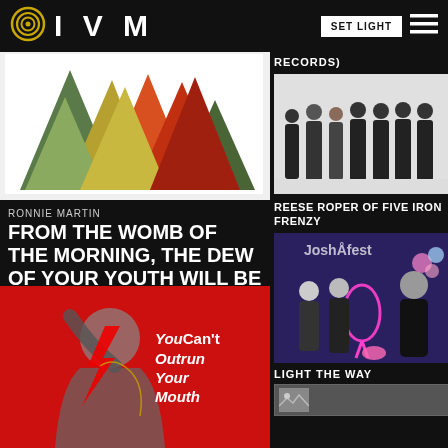IVM
[Figure (screenshot): IVM website header with logo (concentric circles + IVM text), SET LIGHT button, and hamburger menu]
[Figure (illustration): Colorful geometric triangle artwork in greens, yellows, oranges and reds on white background]
RONNIE MARTIN
FROM THE WOMB OF THE MORNING, THE DEW OF YOUR YOUTH WILL BE YOURS
[Figure (illustration): Red album artwork with black and white figure and text 'You Can't Outrun Your Mouth']
RECORDS)
[Figure (photo): Group photo of band members in black shirts standing against a white wall]
REESE ROPER OF FIVE IRON FRENZY
[Figure (photo): Group of people at Joshuafest event with neon flamingo decoration]
LIGHT THE WAY
[Figure (photo): Small thumbnail image placeholder]